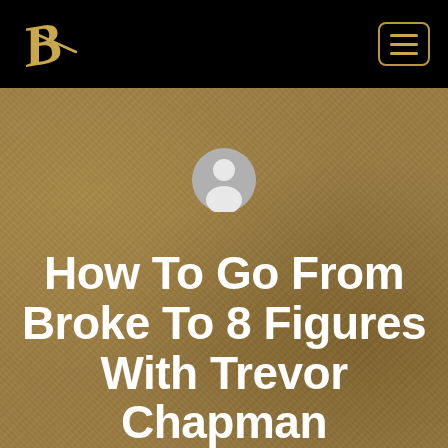B logo and hamburger menu navigation bar
[Figure (illustration): Default user avatar icon — grey circle with white silhouette of a person, centered on a leather-textured golden-brown background]
How To Go From Broke To 8 Figures With Trevor Chapman